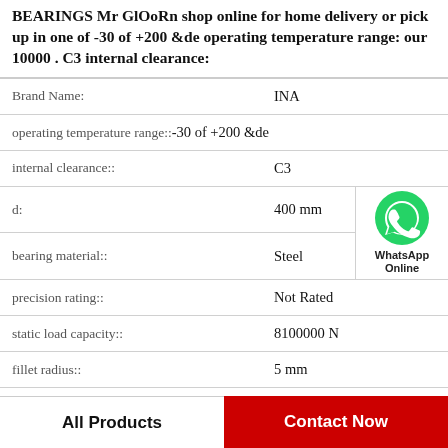BEARINGS Mr GlOoRn shop online for home delivery or pick up in one of -30 of +200 &de operating temperature range: our 10000 . C3 internal clearance:
| Property | Value |
| --- | --- |
| Brand Name: | INA |
| operating temperature range:: | -30 of +200 &de |
| internal clearance:: | C3 |
| d: | 400 mm |
| bearing material:: | Steel |
| precision rating:: | Not Rated |
| static load capacity:: | 8100000 N |
| fillet radius:: | 5 mm |
[Figure (logo): WhatsApp contact icon — green circle with phone handset, labeled WhatsApp Online]
All Products
Contact Now